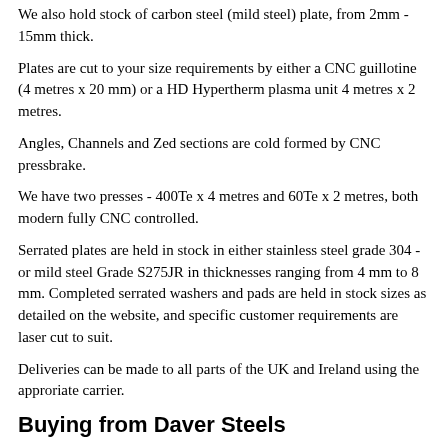We also hold stock of carbon steel (mild steel) plate, from 2mm - 15mm thick.
Plates are cut to your size requirements by either a CNC guillotine (4 metres x 20 mm) or a HD Hypertherm plasma unit 4 metres x 2 metres.
Angles, Channels and Zed sections are cold formed by CNC pressbrake.
We have two presses - 400Te x 4 metres and 60Te x 2 metres, both modern fully CNC controlled.
Serrated plates are held in stock in either stainless steel grade 304 - or mild steel Grade S275JR in thicknesses ranging from 4 mm to 8 mm. Completed serrated washers and pads are held in stock sizes as detailed on the website, and specific customer requirements are laser cut to suit.
Deliveries can be made to all parts of the UK and Ireland using the approriate carrier.
Buying from Daver Steels
When you buy through this site, you are buying directly from the